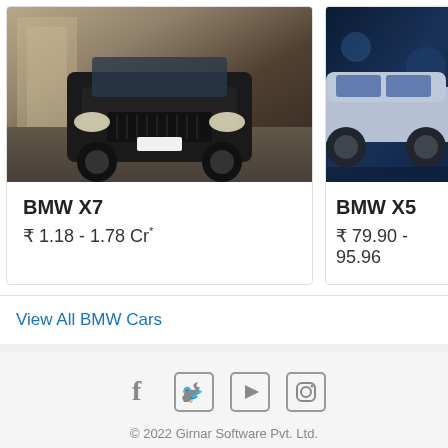[Figure (photo): BMW X7 dark SUV front view driving on road]
BMW X7
₹ 1.18 - 1.78 Cr*
[Figure (photo): BMW X5 silver/white SUV side view driving in tunnel with blue lighting]
BMW X5
₹ 79.90 - 95.96
View All BMW Cars
© 2022 Girnar Software Pvt. Ltd.
Privacy Policy • T & C